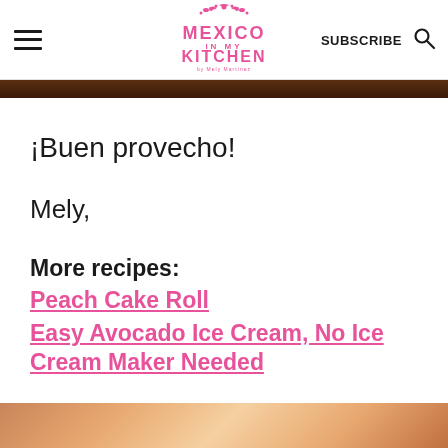Mexico In My Kitchen — SUBSCRIBE [search icon]
[Figure (photo): Dark brown wooden surface image strip at top of main content area]
¡Buen provecho!
Mely,
More recipes:
Peach Cake Roll
Easy Avocado Ice Cream, No Ice Cream Maker Needed
[Figure (photo): Partial view of food image at bottom of page]